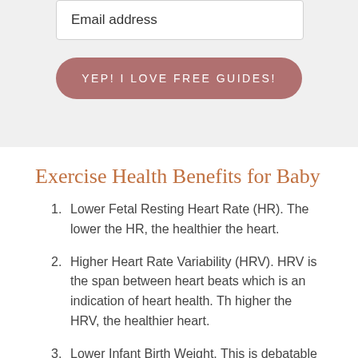Email address
YEP! I LOVE FREE GUIDES!
Exercise Health Benefits for Baby
Lower Fetal Resting Heart Rate (HR). The lower the HR, the healthier the heart.
Higher Heart Rate Variability (HRV). HRV is the span between heart beats which is an indication of heart health. Th higher the HRV, the healthier heart.
Lower Infant Birth Weight. This is debatable depending on the research you read but there is